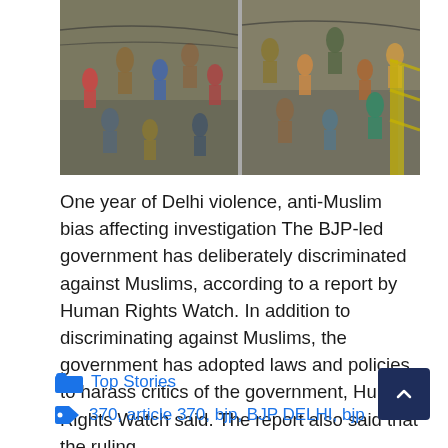[Figure (photo): Aerial/overhead view of a crowd scene showing people running or moving in a street, appears to be footage from civil unrest or protest]
One year of Delhi violence, anti-Muslim bias affecting investigation The BJP-led government has deliberately discriminated against Muslims, according to a report by Human Rights Watch. In addition to discriminating against Muslims, the government has adopted laws and policies to harass critics of the government, Human Rights Watch said. The report also said that the ruling …
Read more
Top Stories
370, article 370, bjp, BJP DELHI, bjp